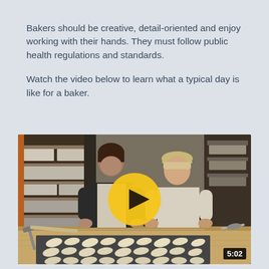Bakers should be creative, detail-oriented and enjoy working with their hands. They must follow public health regulations and standards.
Watch the video below to learn what a typical day is like for a baker.
[Figure (photo): Video thumbnail showing two people in a bakery working with dough and croissants on a large wooden table. A yellow play button is centered on the image. A time badge showing 5:02 is in the bottom right corner.]